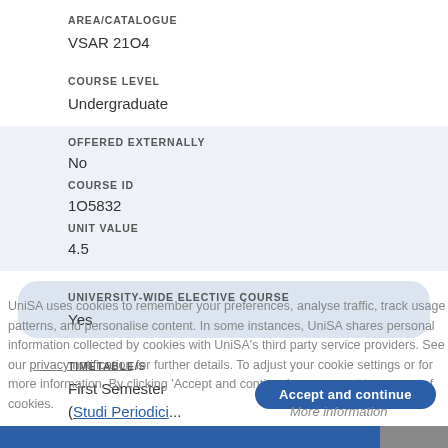AREA/CATALOGUE
VSAR 21O4
COURSE LEVEL
Undergraduate
OFFERED EXTERNALLY
No
COURSE ID
1O5832
UNIT VALUE
4.5
UNIVERSITY-WIDE ELECTIVE COURSE
Yes
TIMETABLE/S
First Semester
(Stud...)